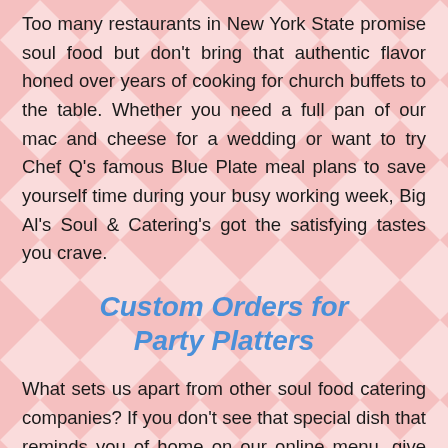Too many restaurants in New York State promise soul food but don't bring that authentic flavor honed over years of cooking for church buffets to the table. Whether you need a full pan of our mac and cheese for a wedding or want to try Chef Q's famous Blue Plate meal plans to save yourself time during your busy working week, Big Al's Soul & Catering's got the satisfying tastes you crave.
Custom Orders for Party Platters
What sets us apart from other soul food catering companies? If you don't see that special dish that reminds you of home on our online menu, give us